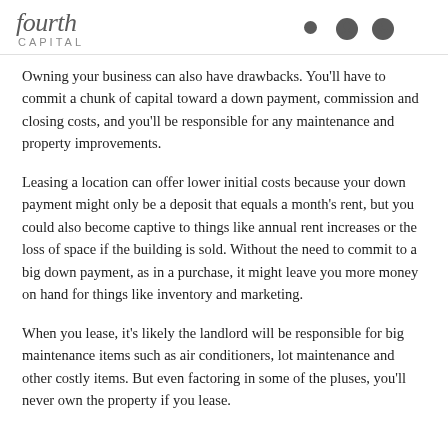fourth CAPITAL
Owning your business can also have drawbacks. You'll have to commit a chunk of capital toward a down payment, commission and closing costs, and you'll be responsible for any maintenance and property improvements.
Leasing a location can offer lower initial costs because your down payment might only be a deposit that equals a month's rent, but you could also become captive to things like annual rent increases or the loss of space if the building is sold. Without the need to commit to a big down payment, as in a purchase, it might leave you more money on hand for things like inventory and marketing.
When you lease, it's likely the landlord will be responsible for big maintenance items such as air conditioners, lot maintenance and other costly items. But even factoring in some of the pluses, you'll never own the property if you lease.